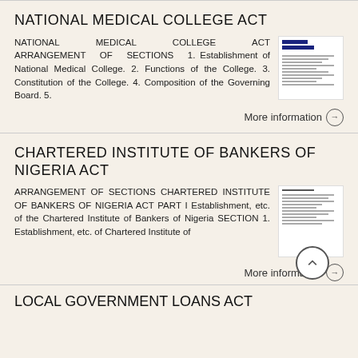NATIONAL MEDICAL COLLEGE ACT
NATIONAL MEDICAL COLLEGE ACT ARRANGEMENT OF SECTIONS 1. Establishment of National Medical College. 2. Functions of the College. 3. Constitution of the College. 4. Composition of the Governing Board. 5.
[Figure (screenshot): Thumbnail image of the National Medical College Act document page]
More information →
CHARTERED INSTITUTE OF BANKERS OF NIGERIA ACT
ARRANGEMENT OF SECTIONS CHARTERED INSTITUTE OF BANKERS OF NIGERIA ACT PART I Establishment, etc. of the Chartered Institute of Bankers of Nigeria SECTION 1. Establishment, etc. of Chartered Institute of
[Figure (screenshot): Thumbnail image of the Chartered Institute of Bankers of Nigeria Act document page]
More information →
LOCAL GOVERNMENT LOANS ACT